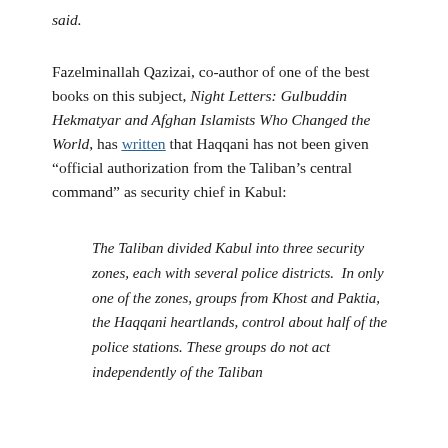said.
Fazelminallah Qazizai, co-author of one of the best books on this subject, Night Letters: Gulbuddin Hekmatyar and Afghan Islamists Who Changed the World, has written that Haqqani has not been given “official authorization from the Taliban’s central command” as security chief in Kabul:
The Taliban divided Kabul into three security zones, each with several police districts. In only one of the zones, groups from Khost and Paktia, the Haqqani heartlands, control about half of the police stations. These groups do not act independently of the Taliban